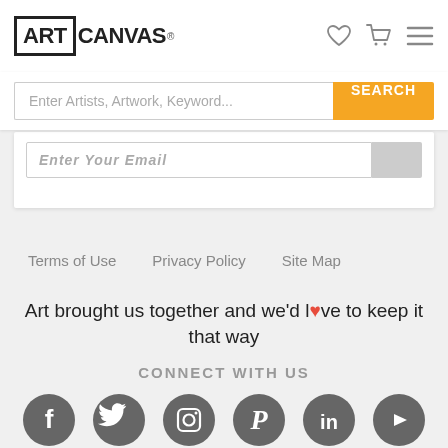[Figure (logo): ArtCanvas logo with colored letters in a box]
[Figure (screenshot): Search bar with placeholder 'Enter Artists, Artwork, Keyword...' and orange SEARCH button]
[Figure (screenshot): Email input field partially visible with 'Enter Your Email' placeholder]
Terms of Use    Privacy Policy    Site Map
Art brought us together and we'd love to keep it that way
CONNECT WITH US
[Figure (infographic): Social media icons: Facebook, Twitter, Instagram, Pinterest, LinkedIn, YouTube — all dark gray circles]